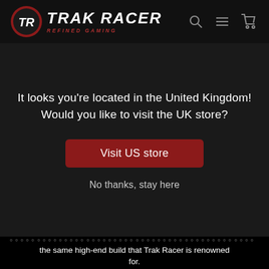[Figure (logo): Trak Racer logo with red circular TR emblem and white italic bold text TRAK RACER, tagline REFINED GAMING in dark red italic]
It looks you're located in the United Kingdom! Would you like to visit the UK store?
Visit US store
No thanks, stay here
the same high-end build that Trak Racer is renowned for.
The Trak Racer Quad Monitor Stand allows for up to 90 degrees of swivel and has the strength to support